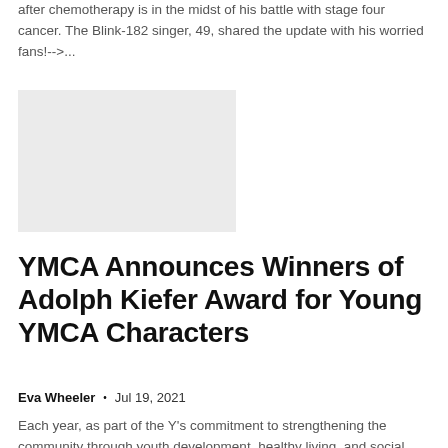after chemotherapy is in the midst of his battle with stage four cancer. The Blink-182 singer, 49, shared the update with his worried fans!-->...
[Figure (photo): Placeholder image, light gray rectangle]
YMCA Announces Winners of Adolph Kiefer Award for Young YMCA Characters
Eva Wheeler • Jul 19, 2021
Each year, as part of the Y's commitment to strengthening the community through youth development, healthy living, and social